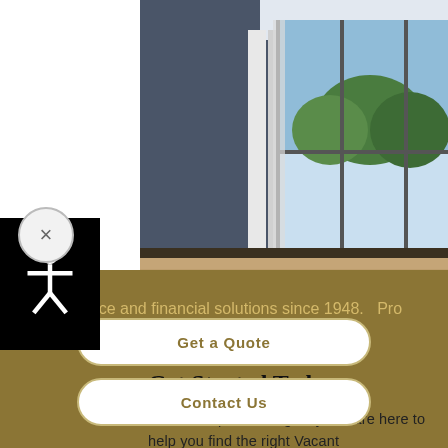[Figure (photo): Interior of an empty modern room with large floor-to-ceiling windows, dark blue-gray walls, and light wood flooring. Natural light coming through windows with view of green trees outside.]
Get Started Today
As an independent agency, we are here to help you find the right Vacant
iding insurance and financial solutions since 1948.  Pro
Get a Quote
Contact Us